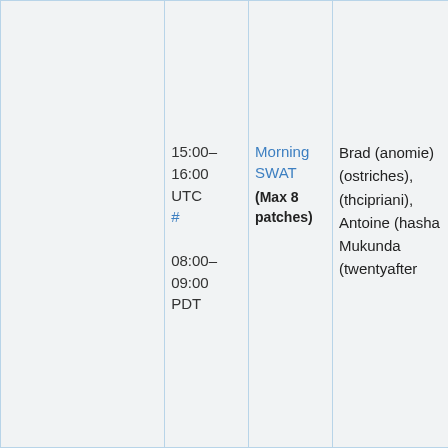|  | Time | Session | People |
| --- | --- | --- | --- |
|  | 15:00–16:00 UTC #
08:00–09:00 PDT | Morning SWAT
(Max 8 patches) | Brad (anomie)
(ostriches),
(thcipriani),
Antoine (hasha
Mukunda
(twentyafter |